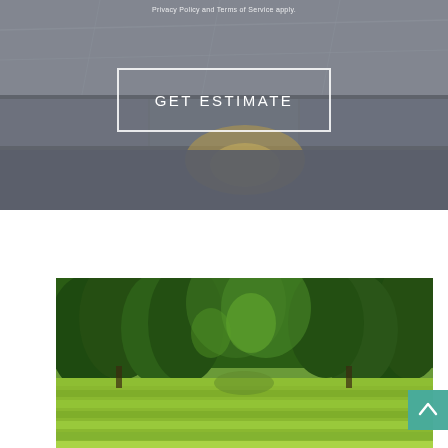[Figure (photo): Aerial or angled view of stone/concrete architectural ledge or wall with warm lighting glow, gray tones]
Privacy Policy and Terms of Service apply.
GET ESTIMATE
[Figure (photo): Lush green lawn and garden landscape with mature trees on both sides, green grass mowed in stripes]
[Figure (other): Scroll-to-top button (teal/green arrow up icon)]